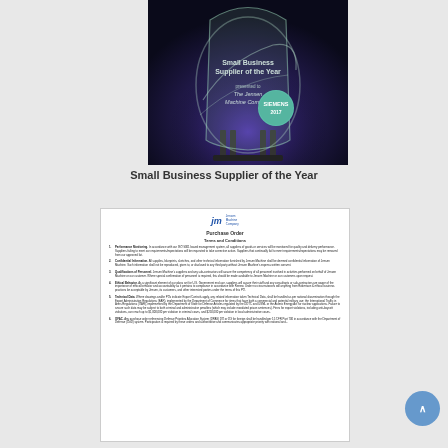[Figure (photo): A glass award trophy for 'Small Business Supplier of the Year' presented to The Jensen Machine Company, with a SIEMENS 2017 medallion, displayed against a blue/purple lit background.]
Small Business Supplier of the Year
[Figure (screenshot): A scanned document showing a Jensen Machine Company Purchase Order Terms and Conditions page, with numbered list items including Performance Monitoring, Confidential Information, Qualifications of Personnel, Ethical Behavior, Technical Data, and OFAC sections.]